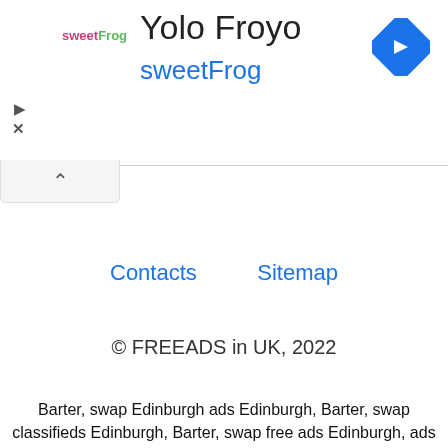[Figure (screenshot): Advertisement banner for Yolo Froyo / sweetFrog with logo, play and close icons, and a blue navigation arrow diamond icon on the right]
Contacts   Sitemap
© FREEADS in UK, 2022
Barter, swap Edinburgh ads Edinburgh, Barter, swap classifieds Edinburgh, Barter, swap free ads Edinburgh, ads for sale Edinburgh, ads to buy Edinburgh, FREEADS in UK. Find here ads for sale, to buy and rent in Edinburgh. Goods for sale in Edinburgh, vehicles for sale in Edinburgh, Edinburgh real estate for sale, Edinburgh property for sale, property for rent in Edinburgh, business ads in Edinburgh, Edinburgh business classifieds, services in Edinburgh,